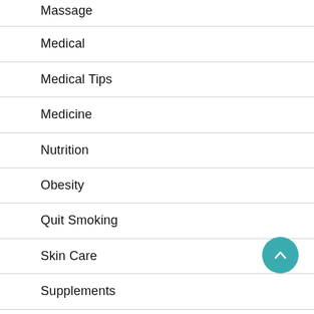Massage
Medical
Medical Tips
Medicine
Nutrition
Obesity
Quit Smoking
Skin Care
Supplements
Therapy